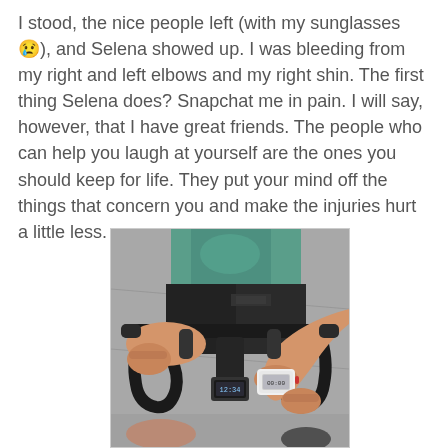I stood, the nice people left (with my sunglasses 😢), and Selena showed up. I was bleeding from my right and left elbows and my right shin. The first thing Selena does? Snapchat me in pain. I will say, however, that I have great friends. The people who can help you laugh at yourself are the ones you should keep for life. They put your mind off the things that concern you and make the injuries hurt a little less.
[Figure (photo): Overhead view of a cyclist's hands on drop handlebars of a road/triathlon bike. The person is wearing a white GPS running/cycling watch on their wrist. They are wearing a teal/green cycling jersey and black cycling shorts. The bike has black handlebars with bar-end shifters. A cycling computer is mounted on the stem.]